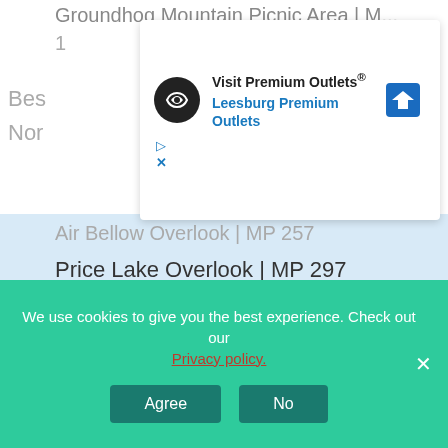Groundhog Mountain Picnic Area | MP 1
Bes…
Nor…
Air Bellow Overlook | MP 257
Price Lake Overlook | MP 297
Rough Ridge Parking Area | MP 303
Beacon Heights Overlook | MP 305
Chestoa View Overlook | MP 321
[Figure (screenshot): Advertisement overlay: Visit Premium Outlets® - Leesburg Premium Outlets, with logo, navigation icon, play and close controls]
[Figure (screenshot): Advertisement overlay: 37 Beauty Products With Such Good Reviews You Might Want To Try Them Yourself, with badge '22', product images]
CLOSE
We use cookies to give you the best experience. Check out our Privacy policy.
Agree   No